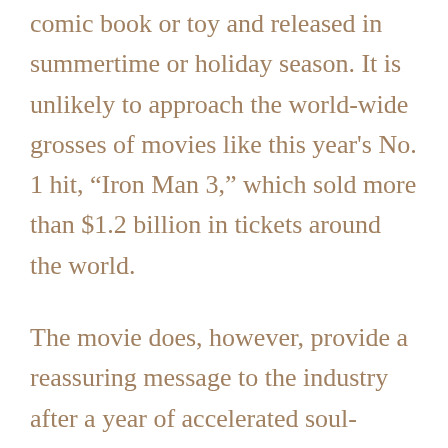comic book or toy and released in summertime or holiday season. It is unlikely to approach the world-wide grosses of movies like this year's No. 1 hit, “Iron Man 3,” which sold more than $1.2 billion in tickets around the world.
The movie does, however, provide a reassuring message to the industry after a year of accelerated soul-searching, when big-ticket movies bombed and Steven Spielberg wondered aloud about a coming movie